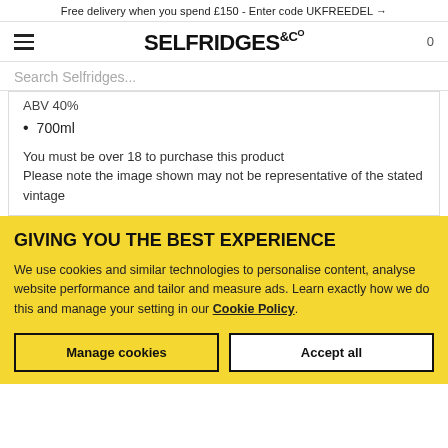Free delivery when you spend £150 - Enter code UKFREEDEL →
[Figure (logo): Selfridges & Co logo with hamburger menu and cart icon]
Search Selfridges...
ABV 40%
700ml
You must be over 18 to purchase this product
Please note the image shown may not be representative of the stated vintage
GIVING YOU THE BEST EXPERIENCE
We use cookies and similar technologies to personalise content, analyse website performance and tailor and measure ads. Learn exactly how we do this and manage your setting in our Cookie Policy.
Manage cookies
Accept all